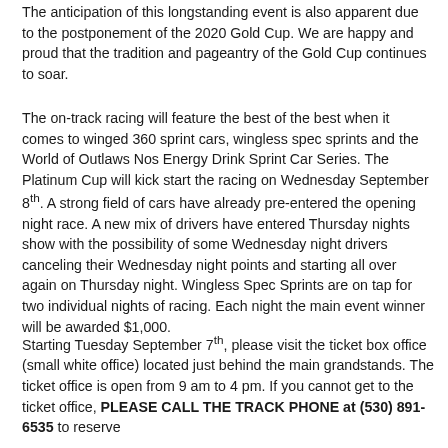The anticipation of this longstanding event is also apparent due to the postponement of the 2020 Gold Cup.  We are happy and proud that the tradition and pageantry of the Gold Cup continues to soar.
The on-track racing will feature the best of the best when it comes to winged 360 sprint cars, wingless spec sprints and the World of Outlaws Nos Energy Drink Sprint Car Series.  The Platinum Cup will kick start the racing on Wednesday September 8th.  A strong field of cars have already pre-entered the opening night race.  A new mix of drivers have entered Thursday nights show with the possibility of some Wednesday night drivers canceling their Wednesday night points and starting all over again on Thursday night.  Wingless Spec Sprints are on tap for two individual nights of racing.  Each night the main event winner will be awarded $1,000.
Starting Tuesday September 7th, please visit the ticket box office (small white office) located just behind the main grandstands.  The ticket office is open from 9 am to 4 pm.  If you cannot get to the ticket office, PLEASE CALL THE TRACK PHONE at (530) 891-6535 to reserve